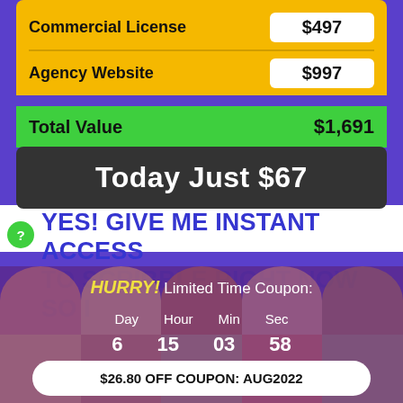| Item | Price |
| --- | --- |
| Commercial License | $497 |
| Agency Website | $997 |
| Total Value | $1,691 |
Today Just $67
YES! GIVE ME INSTANT ACCESS TO SCRIBBLE RIGHT NOW SO I
HURRY! Limited Time Coupon:
Day 6  Hour 15  Min 03  Sec 58
$26.80 OFF COUPON: AUG2022